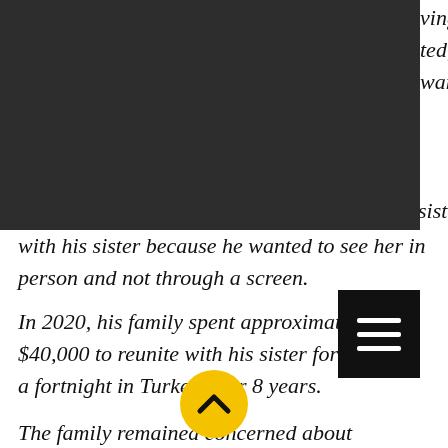Refugee Voices
[Figure (screenshot): Navigation bar with dark background containing Refugee Voices logo in blue, yellow Donate button, pink shopping bag icon with 0, and black hamburger menu icon]
with his sister because he wanted to see her in person and not through a screen.
In 2020, his family spent approximately $40,000 to reunite with his sister for just over a fortnight in Turkey after 8 years.
The family remained concerned about the status of their visa while outside of Australia because they understood that